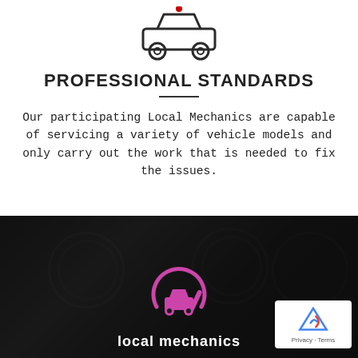[Figure (illustration): Car icon outline (top-down silhouette) with two wheels, dark outline on white background]
PROFESSIONAL STANDARDS
Our participating Local Mechanics are capable of servicing a variety of vehicle models and only carry out the work that is needed to fix the issues.
[Figure (photo): Dark car interior dashboard background with a pink/magenta Local Mechanics logo (car with wrench) and 'local mechanics' text in white. A reCAPTCHA badge appears in the bottom right corner.]